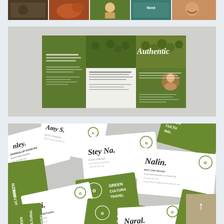[Figure (photo): Horizontal photo strip showing five travel/cultural photos including people and animals at the top of the page]
[Figure (photo): Mockup of a green-themed tri-fold brochure for Green Cultural Travel with the word 'Authentic' in script on the cover, on a gray background]
[Figure (photo): Overhead scatter of Green Cultural Travel business cards, green and white designs, showing various staff names: Nalin, Stey Na, Gigi, Naral, and others. A tan back-to-top arrow button appears in the lower right.]